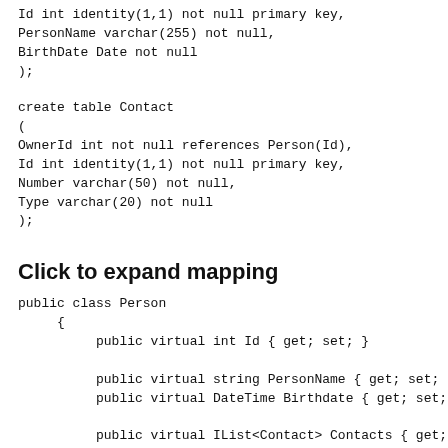Id int identity(1,1) not null primary key,
PersonName varchar(255) not null,
BirthDate Date not null
);
create table Contact
(
OwnerId int not null references Person(Id),
Id int identity(1,1) not null primary key,
Number varchar(50) not null,
Type varchar(20) not null
);
Click to expand mapping
public class Person
    {
        public virtual int Id { get; set; }

        public virtual string PersonName { get; set; }
        public virtual DateTime Birthdate { get; set; }

        public virtual IList<Contact> Contacts { get; set
    }
public class Contact